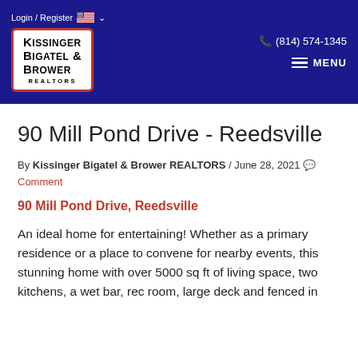Login / Register  (814) 574-1345  KISSINGER BIGATEL & BROWER REALTORS  MENU
90 Mill Pond Drive - Reedsville
By Kissinger Bigatel & Brower REALTORS / June 28, 2021  Comment
90 Mill Pond Drive, Reedsville
An ideal home for entertaining! Whether as a primary residence or a place to convene for nearby events, this stunning home with over 5000 sq ft of living space, two kitchens, a wet bar, rec room, large deck and fenced in